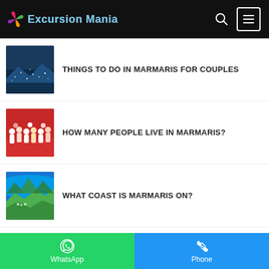Excursion Mania
THINGS TO DO IN MARMARIS FOR COUPLES
HOW MANY PEOPLE LIVE IN MARMARIS?
WHAT COAST IS MARMARIS ON?
WHAT ARE THE BEACHES LIKE IN MARMARIS?
WhatsApp | Phone